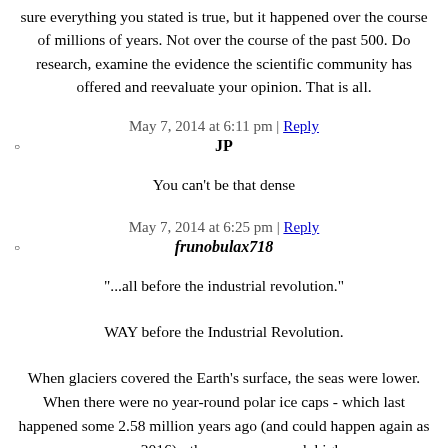sure everything you stated is true, but it happened over the course of millions of years. Not over the course of the past 500. Do research, examine the evidence the scientific community has offered and reevaluate your opinion. That is all.
May 7, 2014 at 6:11 pm | Reply
JP
You can't be that dense
May 7, 2014 at 6:25 pm | Reply
frunobulax718
"...all before the industrial revolution."
WAY before the Industrial Revolution.
When glaciers covered the Earth's surface, the seas were lower. When there were no year-round polar ice caps - which last happened some 2.58 million years ago (and could happen again as soon as 2016) - the seas were much higher.
However, ice core samples only go back 700,000